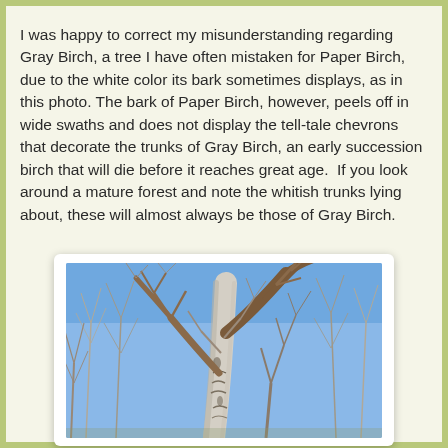I was happy to correct my misunderstanding regarding Gray Birch, a tree I have often mistaken for Paper Birch, due to the white color its bark sometimes displays, as in this photo. The bark of Paper Birch, however, peels off in wide swaths and does not display the tell-tale chevrons that decorate the trunks of Gray Birch, an early succession birch that will die before it reaches great age.  If you look around a mature forest and note the whitish trunks lying about, these will almost always be those of Gray Birch.
[Figure (photo): A Gray Birch tree trunk with white/gray bark and branching limbs against a blue winter sky, surrounded by bare deciduous trees.]